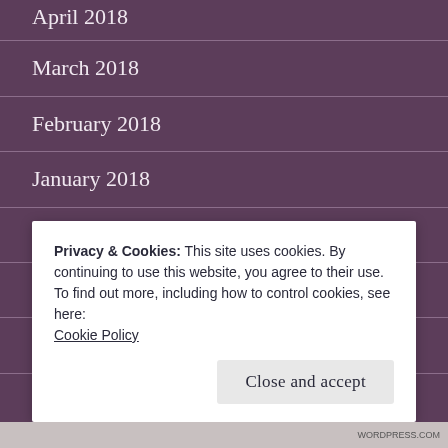April 2018
March 2018
February 2018
January 2018
December 2017
November 2017
August 2017
July 2017
June 2017
Privacy & Cookies: This site uses cookies. By continuing to use this website, you agree to their use.
To find out more, including how to control cookies, see here:
Cookie Policy
Close and accept
WORDPRESS.COM